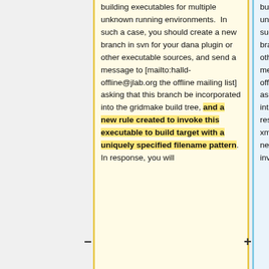building executables for multiple unknown running environments.  In such a case, you should create a new branch in svn for your dana plugin or other executable sources, and send a message to [mailto:halld-offline@jlab.org the offline mailing list] asking that this branch be incorporated into the gridmake build tree, and a new rule created to invoke this executable to build target with a uniquely specified filename pattern. In response, you will
building executables for multiple unknown running environments.  In such a case, you should create a new branch in svn for your dana plugin or other executable sources, and send a message to [mailto:halld-offline@jlab.org the offline mailing list] asking that this branch be incorporated into the gridmake build tree. In response, you will receive an updated xml file similar to exam1.xml, with a new rule defined that will automatically invoke